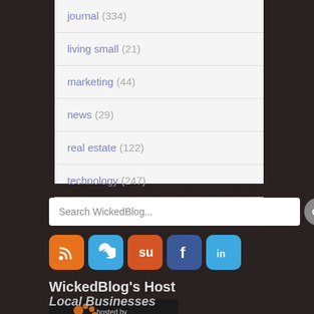journal (334)
living small (21)
marketing (44)
news (29)
real estate (122)
technology (247)
Search WickedBlog...
[Figure (infographic): Social media icons: RSS (orange), Twitter (blue), StumbleUpon (red-orange), Facebook (blue), LinkedIn (light blue)]
WickedBlog's Host
[Figure (logo): Tiger hosting logo: black background with orange paw print, text 'hosted by Tiger' in white italic serif]
Local Businesses